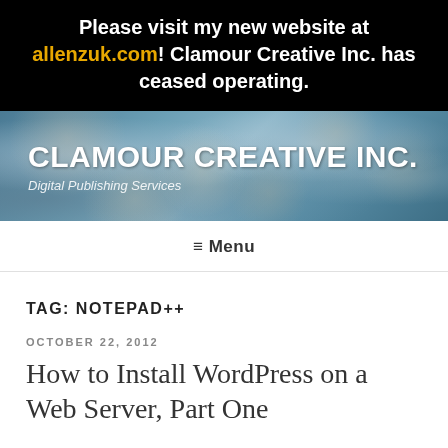Please visit my new website at allenzuk.com! Clamour Creative Inc. has ceased operating.
CLAMOUR CREATIVE INC.
Digital Publishing Services
≡ Menu
TAG: NOTEPAD++
OCTOBER 22, 2012
How to Install WordPress on a Web Server, Part One